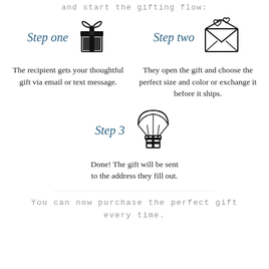and start the gifting flow:
Step one
[Figure (illustration): Gift box icon with ribbon and bow]
The recipient gets your thoughtful gift via email or text message.
Step two
[Figure (illustration): Open envelope with hearts icon]
They open the gift and choose the perfect size and color or exchange it before it ships.
Step 3
[Figure (illustration): Parachute delivering a gift box icon]
Done! The gift will be sent to the address they fill out.
You can now purchase the perfect gift every time.